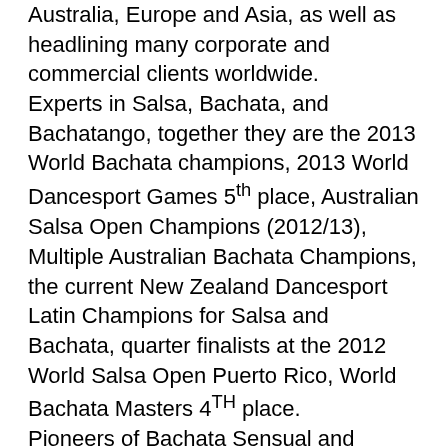Australia, Europe and Asia, as well as headlining many corporate and commercial clients worldwide. Experts in Salsa, Bachata, and Bachatango, together they are the 2013 World Bachata champions, 2013 World Dancesport Games 5th place, Australian Salsa Open Champions (2012/13), Multiple Australian Bachata Champions, the current New Zealand Dancesport Latin Champions for Salsa and Bachata, quarter finalists at the 2012 World Salsa Open Puerto Rico, World Bachata Masters 4TH place. Pioneers of Bachata Sensual and Bachatango in Australia they are directors of Sydney's leading Bachata dance school Dance With ME – Mitch and Ellicia. Between them they have over 35 years of experience in the dance industry, and their diversity in dance style expertise sets them apart from many other Latin acts, having extensive training combined in Salsa, Bachata, Bachatango, Zouk, Ballet, Jazz, Contemporary, Musical Theatre, Tap, Hip Hop, Salsa and more.